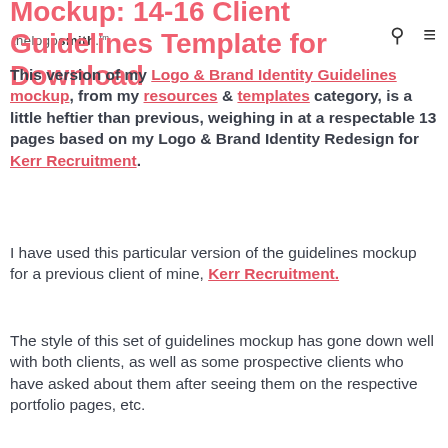thelogosmith.™
Mockup: 14-16 Client Guidelines Template for Download
This version of my Logo & Brand Identity Guidelines mockup, from my resources & templates category, is a little heftier than previous, weighing in at a respectable 13 pages based on my Logo & Brand Identity Redesign for Kerr Recruitment.
I have used this particular version of the guidelines mockup for a previous client of mine, Kerr Recruitment.
The style of this set of guidelines mockup has gone down well with both clients, as well as some prospective clients who have asked about them after seeing them on the respective portfolio pages, etc.